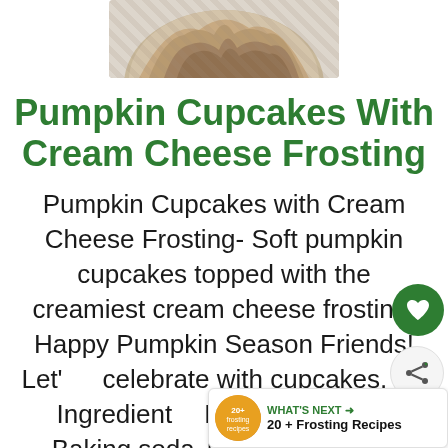[Figure (photo): Top portion of a pumpkin cupcake with cream cheese frosting, showing the swirled frosting top against a white background]
Pumpkin Cupcakes With Cream Cheese Frosting
Pumpkin Cupcakes with Cream Cheese Frosting- Soft pumpkin cupcakes topped with the creamiest cream cheese frosting. Happy Pumpkin Season Friends! Let's celebrate with cupcakes. 🎃 Ingredients Needed: Flour + Baking soda + Baking powder Ground cinnamon + Salt + Eggs + Vanilla Coconut palm sugar or brown